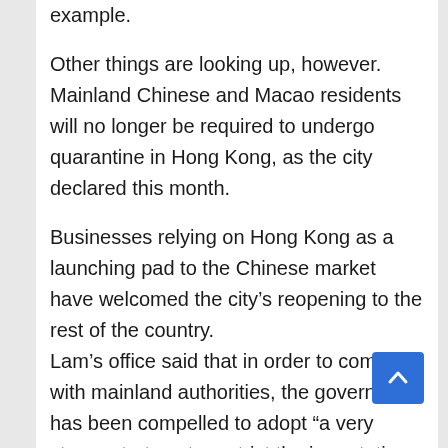example.
Other things are looking up, however. Mainland Chinese and Macao residents will no longer be required to undergo quarantine in Hong Kong, as the city declared this month.
Businesses relying on Hong Kong as a launching pad to the Chinese market have welcomed the city’s reopening to the rest of the country.
Lam’s office said that in order to comply with mainland authorities, the government has been compelled to adopt “a very strong strategy to restrict the importation of infected patients from abroad.”
China and Macao have yet to reciprocate.